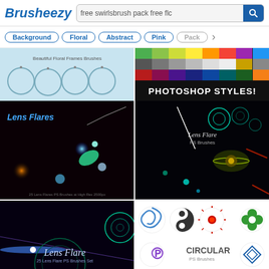Brusheezy — free swirlsbrush pack free flc [search bar with search button]
Background
Floral
Abstract
Pink
Pack
[Figure (screenshot): Beautiful Floral Frames brushes preview thumbnail]
[Figure (screenshot): Photoshop Styles color swatches grid with text PHOTOSHOP STYLES!]
[Figure (screenshot): Lens Flares Photoshop brushes preview on dark background with colorful lens flare effects]
[Figure (screenshot): Lens Flare PS Brushes preview on dark background showing multiple lens flare shapes]
[Figure (screenshot): Lens Flare PS Brushes set preview on dark background with circular rings and light effects]
[Figure (screenshot): Circular PS Brushes preview showing various circular icons and shapes on white background]